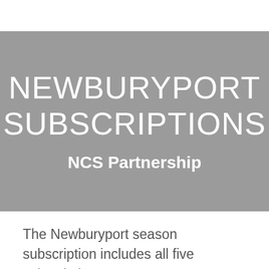NEWBURYPORT SUBSCRIPTIONS NCS Partnership
The Newburyport season subscription includes all five subscription concerts.